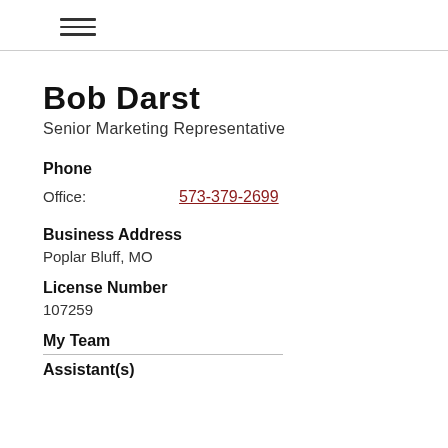☰ (hamburger menu icon)
Bob Darst
Senior Marketing Representative
Phone
Office: 573-379-2699
Business Address
Poplar Bluff, MO
License Number
107259
My Team
Assistant(s)